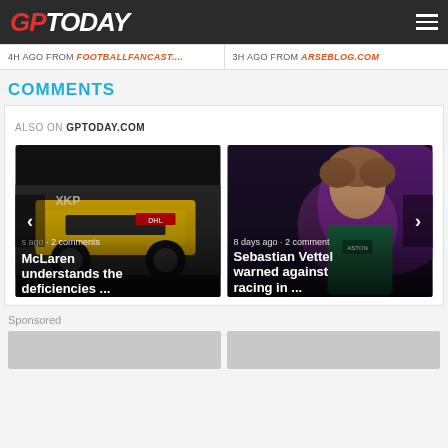GPToday
4H AGO FROM FOOTBALLFANCAST....
3H AGO FROM ARSEBLOG.COM
COMMENTS
ALSO ON GPTODAY.COM
[Figure (photo): McLaren yellow racing car close-up with overlay text: 's ago · 2 comments' and title 'McLaren understands the deficiencies ...']
[Figure (photo): Sebastian Vettel at press conference with overlay text: '8 days ago · 2 comments' and title 'Sebastian Vettel warned against racing in ...']
Sponsored